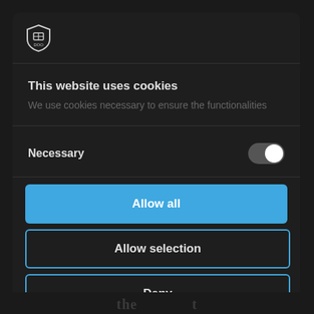[Figure (screenshot): Cookie consent modal dialog on a dark background. Contains a shield logo icon at top, title 'This website uses cookies', description text, a 'Necessary' toggle switch turned on, and three buttons: 'Allow all' (blue filled), 'Allow selection' (outline), 'Deny' (outline).]
This website uses cookies
We use cookies necessary to ensure the functionalities
Necessary
Allow all
Allow selection
Deny